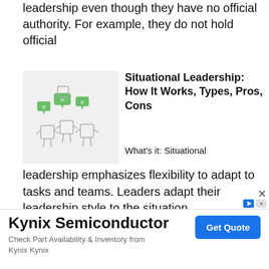leadership even though they have no official authority. For example, they do not hold official
[Figure (illustration): Cartoon illustration of small square figures with speech/thought bubbles in green, representing a group discussion or communication]
Situational Leadership: How It Works, Types, Pros, Cons
What's it: Situational leadership emphasizes flexibility to adapt to tasks and teams. Leaders adapt their leadership style to the situation,
Kynix Semiconductor
Check Part Availability & Inventory from Kynix Kynix
Get Quote